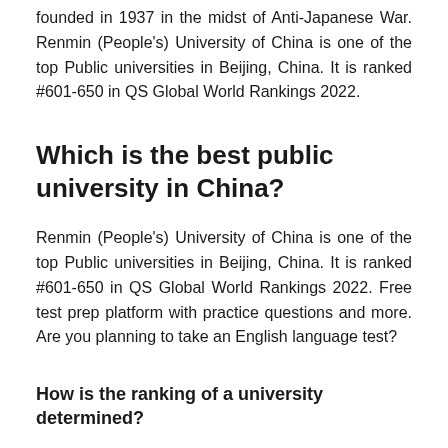founded in 1937 in the midst of Anti-Japanese War. Renmin (People's) University of China is one of the top Public universities in Beijing, China. It is ranked #601-650 in QS Global World Rankings 2022.
Which is the best public university in China?
Renmin (People's) University of China is one of the top Public universities in Beijing, China. It is ranked #601-650 in QS Global World Rankings 2022. Free test prep platform with practice questions and more. Are you planning to take an English language test?
How is the ranking of a university determined?